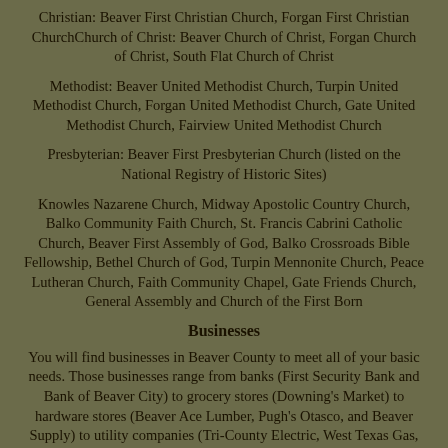Christian: Beaver First Christian Church, Forgan First Christian ChurchChurch of Christ: Beaver Church of Christ, Forgan Church of Christ, South Flat Church of Christ
Methodist: Beaver United Methodist Church, Turpin United Methodist Church, Forgan United Methodist Church, Gate United Methodist Church, Fairview United Methodist Church
Presbyterian: Beaver First Presbyterian Church (listed on the National Registry of Historic Sites)
Knowles Nazarene Church, Midway Apostolic Country Church, Balko Community Faith Church, St. Francis Cabrini Catholic Church, Beaver First Assembly of God, Balko Crossroads Bible Fellowship, Bethel Church of God, Turpin Mennonite Church, Peace Lutheran Church, Faith Community Chapel, Gate Friends Church, General Assembly and Church of the First Born
Businesses
You will find businesses in Beaver County to meet all of your basic needs. Those businesses range from banks (First Security Bank and Bank of Beaver City) to grocery stores (Downing's Market) to hardware stores (Beaver Ace Lumber, Pugh's Otasco, and Beaver Supply) to utility companies (Tri-County Electric, West Texas Gas, Town of Beaver, and Panhandle Telephone)